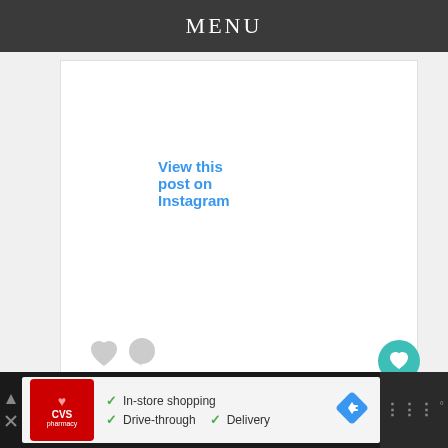MENU
View this post on Instagram
happy dads day 🖤 love you
A post shared by Kylie 🤍 (@kyliejenner)
[Figure (screenshot): WHAT'S NEXT overlay with thumbnail of Caitlyn Jenner Speaks Abo...]
[Figure (screenshot): CVS Pharmacy advertisement: In-store shopping, Drive-through, Delivery]